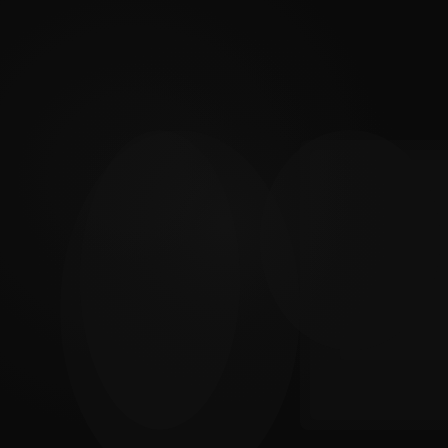[Figure (photo): Very dark, nearly black image with faint shadowy shapes barely visible. The image appears to be a very underexposed or extremely dark photograph with indistinct forms suggesting some architectural or figure-like outlines in very dark tones against a near-black background.]